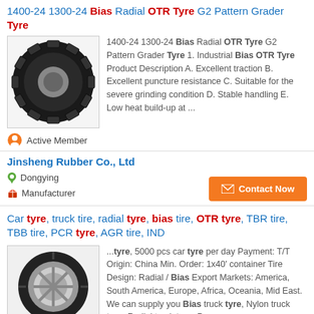1400-24 1300-24 Bias Radial OTR Tyre G2 Pattern Grader Tyre
[Figure (photo): Black OTR tyre with deep tread pattern, side view]
1400-24 1300-24 Bias Radial OTR Tyre G2 Pattern Grader Tyre 1. Industrial Bias OTR Tyre Product Description A. Excellent traction B. Excellent puncture resistance C. Suitable for the severe grinding condition D. Stable handling E. Low heat build-up at ...
Active Member
Jinsheng Rubber Co., Ltd
Dongying
Manufacturer
Car tyre, truck tire, radial tyre, bias tire, OTR tyre, TBR tire, TBB tire, PCR tyre, AGR tire, IND
[Figure (photo): Radial truck tyre, side view showing tread]
...tyre, 5000 pcs car tyre per day Payment: T/T Origin: China Min. Order: 1x40' container Tire Design: Radial / Bias Export Markets: America, South America, Europe, Africa, Oceania, Mid East. We can supply you Bias truck tyre, Nylon truck tyre, Radial truck tyre, Pessenger